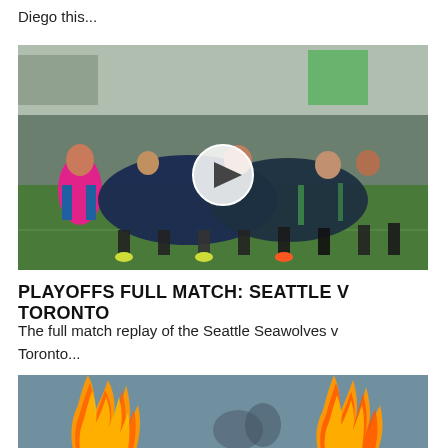Diego this...
[Figure (photo): Rugby scrum match photo with players in dark navy/green uniforms and one player in bright pink shirt, with a video play button overlay in the center]
PLAYOFFS FULL MATCH: SEATTLE V TORONTO
The full match replay of the Seattle Seawolves v Toronto...
[Figure (photo): Partial photo showing flames/fire in foreground with blurred figures in background, bottom of page]